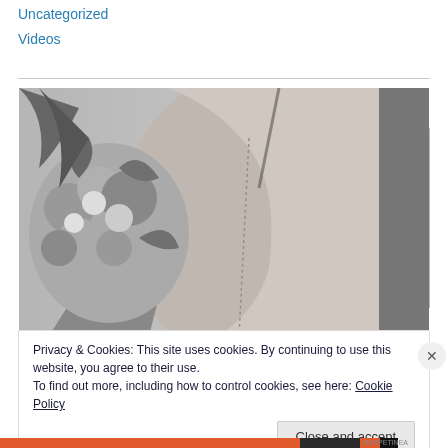Uncategorized
Videos
[Figure (photo): Black and white photograph of a person seen from behind, wearing a sleeveless dress, holding a bouquet of flowers on their left side.]
Privacy & Cookies: This site uses cookies. By continuing to use this website, you agree to their use.
To find out more, including how to control cookies, see here: Cookie Policy
Close and accept